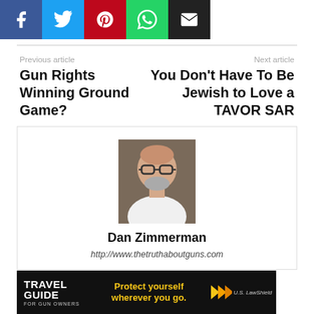[Figure (other): Social media share buttons: Facebook (blue), Twitter (cyan), Pinterest (red), WhatsApp (green), Email (black)]
Previous article
Next article
Gun Rights Winning Ground Game?
You Don't Have To Be Jewish to Love a TAVOR SAR
[Figure (photo): Portrait photo of Dan Zimmerman, a bald man with glasses and a beard wearing a white shirt]
Dan Zimmerman
http://www.thetruthaboutguns.com
[Figure (other): Advertisement banner: Travel Guide for Gun Owners - Protect yourself wherever you go - U.S. LawShield]